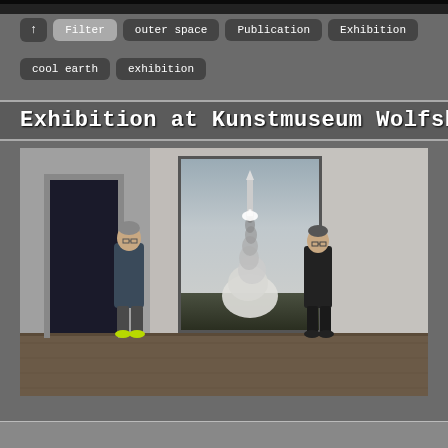[Figure (screenshot): Dark starfield or night sky strip at the very top of the page]
↑
Filter
outer space
Publication
Exhibition
cool earth
exhibition
Exhibition at Kunstmuseum Wolfsburg
[Figure (photo): Museum gallery interior showing two men standing on either side of a large black-and-white photograph of a rocket launch. The painting/photo shows a rocket ascending with a large plume of smoke and clouds. The gallery has white walls and a dark wood floor. One man wears casual clothing with yellow-green shoes, the other wears a dark suit.]